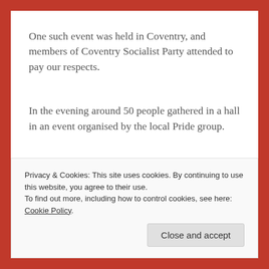One such event was held in Coventry, and members of Coventry Socialist Party attended to pay our respects.
In the evening around 50 people gathered in a hall in an event organised by the local Pride group.
The event began with speeches, personal stories, and
Privacy & Cookies: This site uses cookies. By continuing to use this website, you agree to their use.
To find out more, including how to control cookies, see here: Cookie Policy
Close and accept